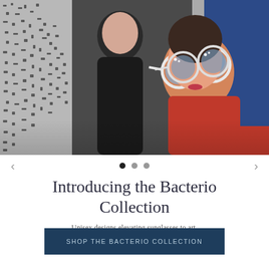[Figure (photo): Two people posing together: a person in a black outfit leaning against a black-and-white patterned background, and a woman in red wearing large ornate white sunglasses leaning on the first person's shoulder, against a blue background.]
Introducing the Bacterio Collection
Unisex designs elevating sunglasses to art. Make a statement just by being yourself.
SHOP THE BACTERIO COLLECTION